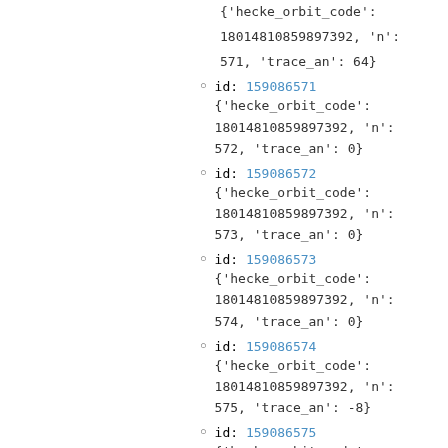{'hecke_orbit_code': 18014810859897392, 'n': 571, 'trace_an': 64}
id: 159086571 {'hecke_orbit_code': 18014810859897392, 'n': 572, 'trace_an': 0}
id: 159086572 {'hecke_orbit_code': 18014810859897392, 'n': 573, 'trace_an': 0}
id: 159086573 {'hecke_orbit_code': 18014810859897392, 'n': 574, 'trace_an': 0}
id: 159086574 {'hecke_orbit_code': 18014810859897392, 'n': 575, 'trace_an': -8}
id: 159086575 {'hecke_orbit_code':